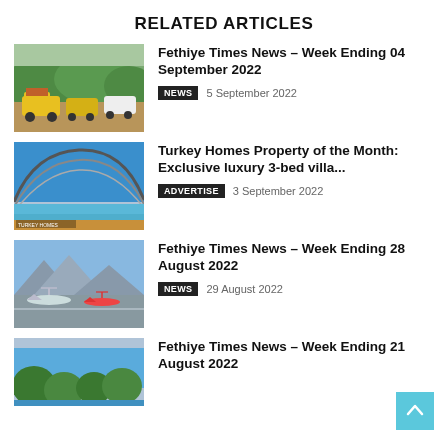RELATED ARTICLES
[Figure (photo): Yellow jeeps on a dirt road with trees in background]
Fethiye Times News – Week Ending 04 September 2022
NEWS  5 September 2022
[Figure (photo): Luxury pool area with curved glass enclosure and blue sky]
Turkey Homes Property of the Month: Exclusive luxury 3-bed villa...
ADVERTISE  3 September 2022
[Figure (photo): Airport tarmac with planes and mountains in background]
Fethiye Times News – Week Ending 28 August 2022
NEWS  29 August 2022
[Figure (photo): Coastal view with trees and water in background]
Fethiye Times News – Week Ending 21 August 2022